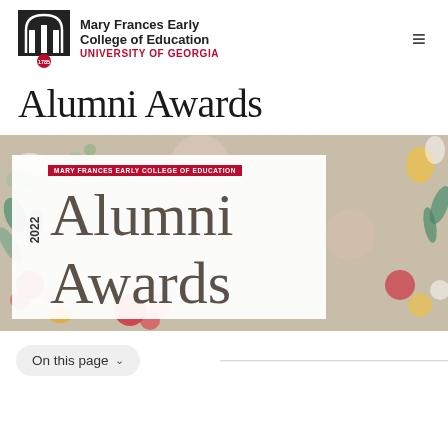Mary Frances Early College of Education UNIVERSITY OF GEORGIA
Alumni Awards
[Figure (illustration): 2022 Alumni Awards banner with floral background and white overlay box containing red label 'MARY FRANCES EARLY COLLEGE OF EDUCATION', rotated year '2022', and large serif text 'Alumni Awards']
On this page